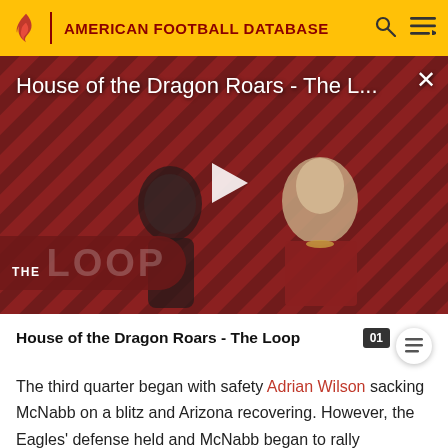AMERICAN FOOTBALL DATABASE
[Figure (screenshot): Video thumbnail for 'House of the Dragon Roars - The L...' showing two characters from House of the Dragon in front of a diagonal stripe background. A play button is overlaid in the center. 'THE LOOP' text badge appears at bottom left.]
House of the Dragon Roars - The Loop
The third quarter began with safety Adrian Wilson sacking McNabb on a blitz and Arizona recovering. However, the Eagles' defense held and McNabb began to rally